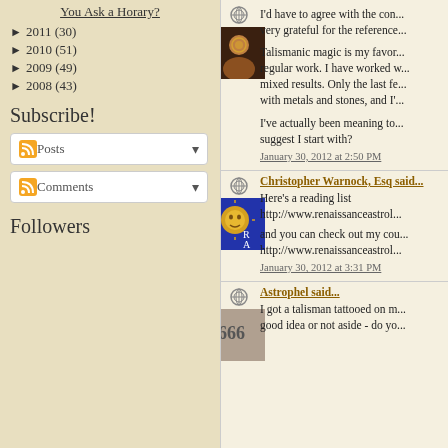You Ask a Horary?
► 2011 (30)
► 2010 (51)
► 2009 (49)
► 2008 (43)
Subscribe!
Posts
Comments
Followers
I'd have to agree with the con... very grateful for the reference...
Talismanic magic is my favor... regular work. I have worked w... mixed results. Only the last fe... with metals and stones, and I'...
I've actually been meaning to... suggest I start with?
January 30, 2012 at 2:50 PM
Christopher Warnock, Esq said...
Here's a reading list http://www.renaissanceastrol...
and you can check out my cou... http://www.renaissanceastrol...
January 30, 2012 at 3:31 PM
Astrophel said...
I got a talisman tattooed on m... good idea or not aside - do yo...